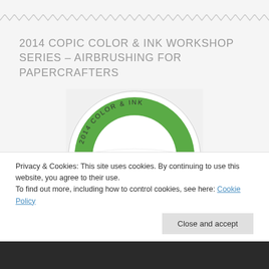2014 COPIC COLOR & INK WORKSHOP SERIES – AIRBRUSHING FOR PAPERCRAFTERS
[Figure (logo): Copic 2014 Color & Ink Workshop Series circular logo with green background, marker graphic, and banner reading 'Copic Workshop Series']
Privacy & Cookies: This site uses cookies. By continuing to use this website, you agree to their use.
To find out more, including how to control cookies, see here: Cookie Policy
Close and accept